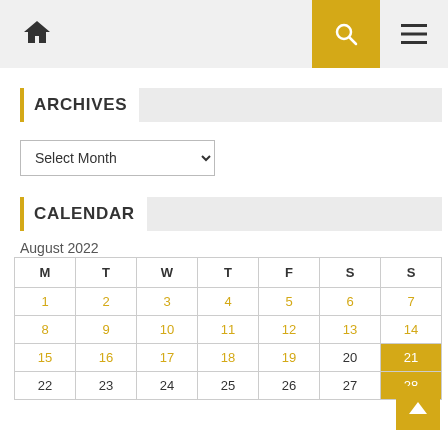Home | Search | Menu navigation bar
ARCHIVES
Select Month
CALENDAR
August 2022
| M | T | W | T | F | S | S |
| --- | --- | --- | --- | --- | --- | --- |
| 1 | 2 | 3 | 4 | 5 | 6 | 7 |
| 8 | 9 | 10 | 11 | 12 | 13 | 14 |
| 15 | 16 | 17 | 18 | 19 | 20 | 21 |
| 22 | 23 | 24 | 25 | 26 | 27 | 28 |